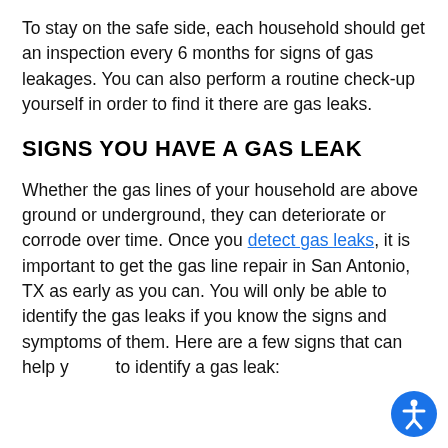To stay on the safe side, each household should get an inspection every 6 months for signs of gas leakages. You can also perform a routine check-up yourself in order to find it there are gas leaks.
SIGNS YOU HAVE A GAS LEAK
Whether the gas lines of your household are above ground or underground, they can deteriorate or corrode over time. Once you detect gas leaks, it is important to get the gas line repair in San Antonio, TX as early as you can. You will only be able to identify the gas leaks if you know the signs and symptoms of them. Here are a few signs that can help you to identify a gas leak: